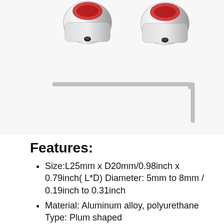[Figure (photo): Two silver/chrome plum shaft couplers with red polyurethane inserts and black set screws, and an L-shaped hex allen key wrench, on white background.]
Features:
Size:L25mm x D20mm/0.98inch x 0.79inch( L*D) Diameter: 5mm to 8mm / 0.19inch to 0.31inch
Material: Aluminum alloy, polyurethane Type: Plum shaped
The shaft couplers are mainly used for CNC machin...